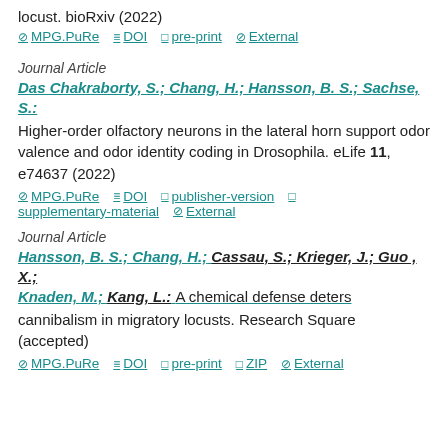locust. bioRxiv (2022)
⊘ MPG.PuRe  ≡ DOI  □ pre-print  ⊘ External
Journal Article
Das Chakraborty, S.; Chang, H.; Hansson, B. S.; Sachse, S.:
Higher-order olfactory neurons in the lateral horn support odor valence and odor identity coding in Drosophila. eLife 11, e74637 (2022)
⊘ MPG.PuRe  ≡ DOI  □ publisher-version  □ supplementary-material  ⊘ External
Journal Article
Hansson, B. S.; Chang, H.; Cassau, S.; Krieger, J.; Guo , X.; Knaden, M.; Kang, L.: A chemical defense deters cannibalism in migratory locusts. Research Square (accepted)
⊘ MPG.PuRe  ≡ DOI  □ pre-print  □ ZIP  ⊘ External